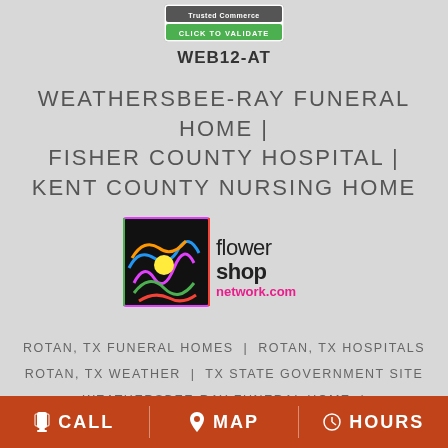[Figure (logo): Trusted Commerce - Click to Validate badge with green background]
WEB12-AT
WEATHERSBEE-RAY FUNERAL HOME | FISHER COUNTY HOSPITAL | KENT COUNTY NURSING HOME
[Figure (logo): Flower Shop Network logo - colorful flower graphic with text 'flower shop network.com']
ROTAN, TX FUNERAL HOMES | ROTAN, TX HOSPITALS
ROTAN, TX WEATHER | TX STATE GOVERNMENT SITE
WEATHERSBEE-RAY FUNERAL HOME | FISHER COUNTY HOSPITAL | KENT COUNTY NURSING HOME
CALL  MAP  HOURS